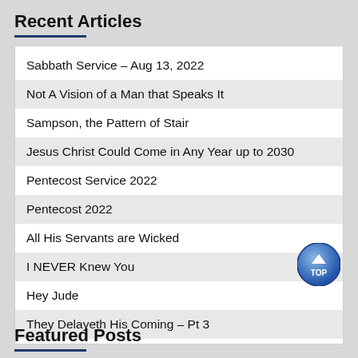Recent Articles
Sabbath Service – Aug 13, 2022
Not A Vision of a Man that Speaks It
Sampson, the Pattern of Stair
Jesus Christ Could Come in Any Year up to 2030
Pentecost Service 2022
Pentecost 2022
All His Servants are Wicked
I NEVER Knew You
Hey Jude
They Delayeth His Coming – Pt 3
Featured Posts